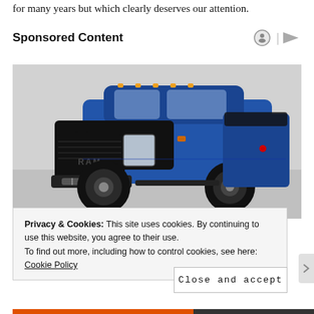for many years but which clearly deserves our attention.
Sponsored Content
[Figure (photo): Blue RAM pickup truck (heavy duty, off-road variant) with black grille, black hood, and large all-terrain tires, shown in front-three-quarter view against a light grey background.]
Privacy & Cookies: This site uses cookies. By continuing to use this website, you agree to their use.
To find out more, including how to control cookies, see here: Cookie Policy
Close and accept